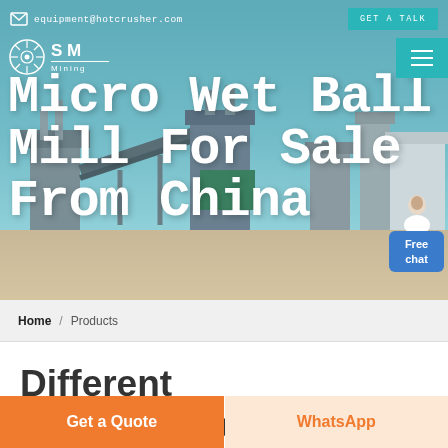equipment@hotcrusher.com   Get A Talk
[Figure (photo): Hero banner showing industrial mining/crushing equipment facility with conveyor belts and structures against a blue sky background. Overlaid with large white bold text reading 'Micro Wet Ball Mill For Sale From China'.]
Home / Products
Different Machines To Meet All
Get a Quote
WhatsApp